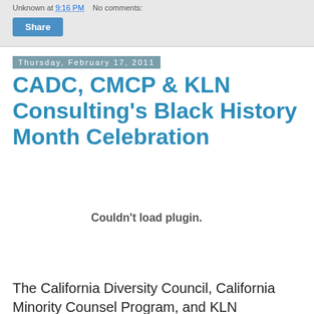Unknown at 9:16 PM   No comments:
Share
Thursday, February 17, 2011
CADC, CMCP & KLN Consulting's Black History Month Celebration
[Figure (other): Embedded plugin area showing 'Couldn't load plugin.' message]
The California Diversity Council, California Minority Counsel Program, and KLN Consulting Group hosted its first Black History Month Celebration featuring Paul D. Henderson,